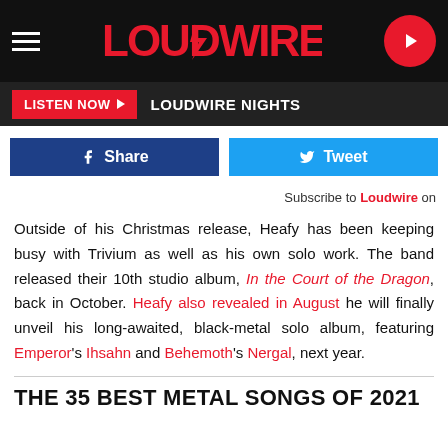LOUDWIRE | LISTEN NOW LOUDWIRE NIGHTS
Share  Tweet
Subscribe to Loudwire on
Outside of his Christmas release, Heafy has been keeping busy with Trivium as well as his own solo work. The band released their 10th studio album, In the Court of the Dragon, back in October. Heafy also revealed in August he will finally unveil his long-awaited, black-metal solo album, featuring Emperor's Ihsahn and Behemoth's Nergal, next year.
THE 35 BEST METAL SONGS OF 2021